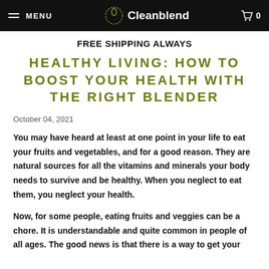MENU | Cleanblend | 0
FREE SHIPPING ALWAYS
HEALTHY LIVING: HOW TO BOOST YOUR HEALTH WITH THE RIGHT BLENDER
October 04, 2021
You may have heard at least at one point in your life to eat your fruits and vegetables, and for a good reason. They are natural sources for all the vitamins and minerals your body needs to survive and be healthy. When you neglect to eat them, you neglect your health.
Now, for some people, eating fruits and veggies can be a chore. It is understandable and quite common in people of all ages. The good news is that there is a way to get your